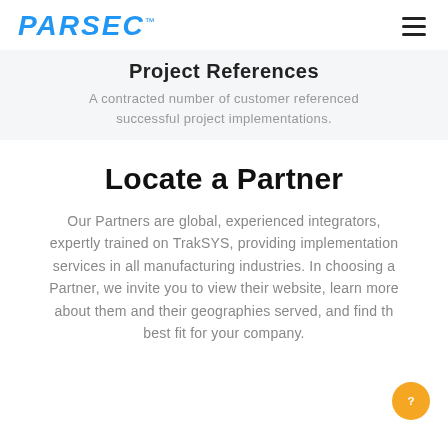PARSEC
Project References
A contracted number of customer referenced successful project implementations.
Locate a Partner
Our Partners are global, experienced integrators, expertly trained on TrakSYS, providing implementation services in all manufacturing industries. In choosing a Partner, we invite you to view their website, learn more about them and their geographies served, and find the best fit for your company.